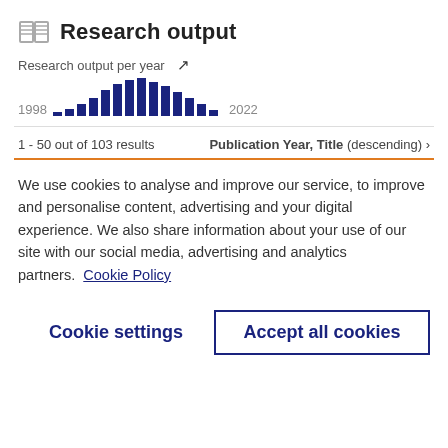Research output
Research output per year
[Figure (bar-chart): Research output per year]
1 - 50 out of 103 results
Publication Year, Title (descending) ›
We use cookies to analyse and improve our service, to improve and personalise content, advertising and your digital experience. We also share information about your use of our site with our social media, advertising and analytics partners.  Cookie Policy
Cookie settings
Accept all cookies